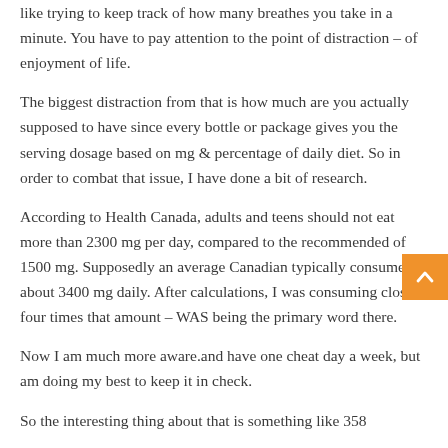like trying to keep track of how many breathes you take in a minute. You have to pay attention to the point of distraction – of enjoyment of life.
The biggest distraction from that is how much are you actually supposed to have since every bottle or package gives you the serving dosage based on mg & percentage of daily diet. So in order to combat that issue, I have done a bit of research.
According to Health Canada, adults and teens should not eat more than 2300 mg per day, compared to the recommended of 1500 mg. Supposedly an average Canadian typically consume about 3400 mg daily. After calculations, I was consuming close to four times that amount – WAS being the primary word there.
Now I am much more aware.and have one cheat day a week, but am doing my best to keep it in check.
So the interesting thing about that is something like 358